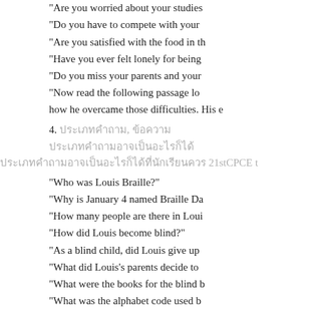“Are you worried about your studies
“Do you have to compete with your
“Are you satisfied with the food in th
“Have you ever felt lonely for being
“Do you miss your parents and your
“Now read the following passage lo how he overcame those difficulties. His e
4. ประเภทคำถาม, ข้อความ
ประเภทคำถามอาจเป็นอะไรก็ได้ 21stCPCE t
“Who was Louis Braille?”
“Why is January 4 named Braille Da
“How many people are there in Loui
“How did Louis become blind?”
“As a blind child, did Louis give up
“What did Louis’s parents decide to
“What were the books for the blind b
“What was the alphabet code used b
“Why was the code no good for the b